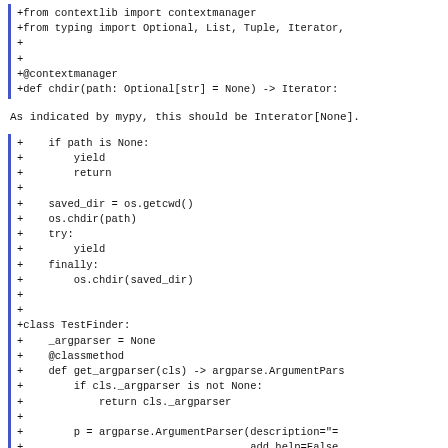[Figure (screenshot): Code diff block showing imports and function definition: +from contextlib import contextmanager, +from typing import Optional, List, Tuple, Iterator,, +, +, +@contextmanager, +def chdir(path: Optional[str] = None) -> Iterator:]
As indicated by mypy, this should be Interator[None].
[Figure (screenshot): Code diff block showing function body and class definition including if path is None, yield, return, saved_dir, os.chdir, try/finally blocks, class TestFinder, _argparser, get_argparser method, argparse.ArgumentParser]